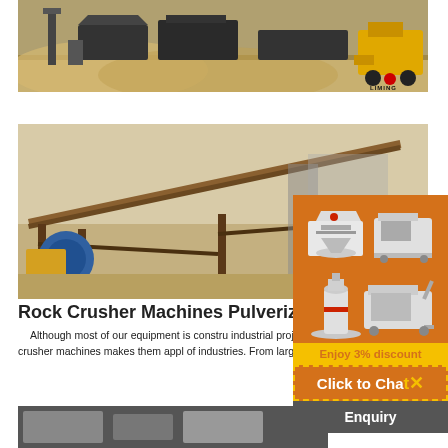[Figure (photo): Top banner photo of rock crusher machinery and yellow construction vehicles at a mining/quarry site, with Liming logo in bottom right corner]
[Figure (photo): Photo of an industrial rock crusher machine with conveyor belt on a steel frame at a quarry site]
Rock Crusher Machines Pulverizers W
Although most of our equipment is constru industrial projects, we do offer machines for s applications. Learn more below. Rock Crusher A range of rock crusher machines makes them appl of industries. From large industrial projects to sm machines are equipped to handle
[Figure (photo): Orange sidebar with white crusher machine and mobile crushing plant equipment images, Enjoy 3% discount button, Click to Chat button with X icon, and Enquiry button]
[Figure (photo): Bottom strip image of rock crusher machinery]